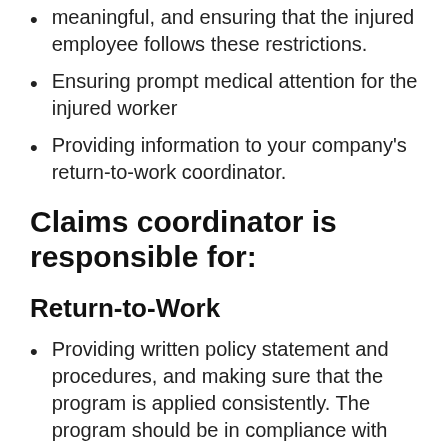meaningful, and ensuring that the injured employee follows these restrictions.
Ensuring prompt medical attention for the injured worker
Providing information to your company's return-to-work coordinator.
Claims coordinator is responsible for:
Return-to-Work
Providing written policy statement and procedures, and making sure that the program is applied consistently. The program should be in compliance with the